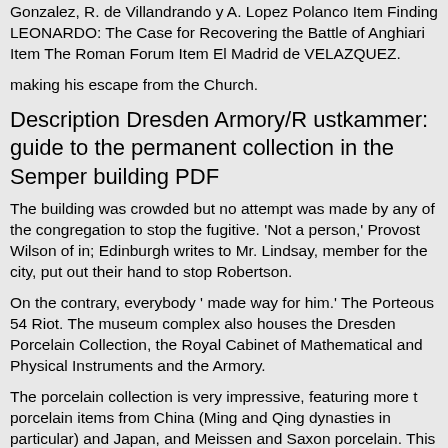Gonzalez, R. de Villandrando y A. Lopez Polanco Item Finding LEONARDO: The Case for Recovering the Battle of Anghiari Item The Roman Forum Item El Madrid de VELAZQUEZ.
making his escape from the Church.
Description Dresden Armory/R ustkammer: guide to the permanent collection in the Semper building PDF
The building was crowded but no attempt was made by any of the congregation to stop the fugitive. 'Not a person,' Provost Wilson of in; Edinburgh writes to Mr. Lindsay, member for the city, put out their hand to stop Robertson.
On the contrary, everybody ' made way for him.' The Porteous 54 Riot. The museum complex also houses the Dresden Porcelain Collection, the Royal Cabinet of Mathematical and Physical Instruments and the Armory.
The porcelain collection is very impressive, featuring more t porcelain items from China (Ming and Qing dynasties in particular) and Japan, and Meissen and Saxon porcelain. This index to the entire 24 books will assist you in finding the location of KEY words in the text, so that you may research Wylie's library without the time and difficulty of reading every single book."These were more noble than those in